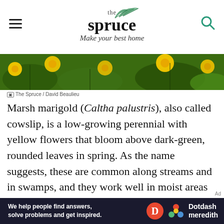the spruce — Make your best home
[Figure (photo): Close-up photo of yellow marsh marigold flowers with dark green leaves]
The Spruce / David Beaulieu
Marsh marigold (Caltha palustris), also called cowslip, is a low-growing perennial with yellow flowers that bloom above dark-green, rounded leaves in spring. As the name suggests, these are common along streams and in swamps, and they work well in moist areas of the landscape. Although the foliage is very attractive and is sometimes cooked to eat, the raw leaves are slightly toxic and can cause skin irritation.[3]
[Figure (logo): Dotdash Meredith advertisement banner — We help people find answers, solve problems and get inspired.]